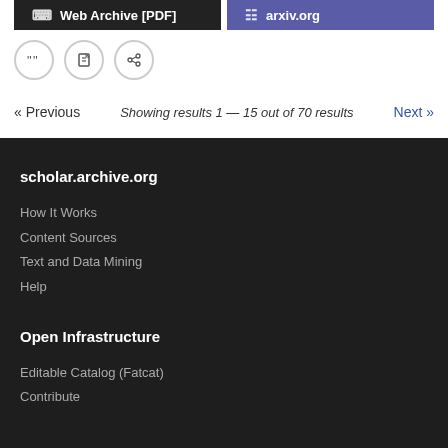Web Archive [PDF]   arxiv.org
« Previous   Showing results 1 — 15 out of 70 results   Next »
scholar.archive.org
How It Works
Content Sources
Text and Data Mining
Help
Open Infrastructure
Editable Catalog (Fatcat)
Contribute